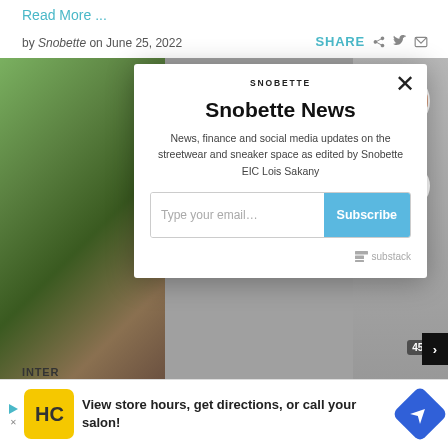Read More ...
by Snobette on June 25, 2022
SHARE
[Figure (screenshot): A modal newsletter signup popup for Snobette News over a blurred webpage background. The modal contains the Snobette logo text, title 'Snobette News', description text, an email input field with 'Type your email...' placeholder, a blue Subscribe button, and a Substack branding footer. Background shows a blurred outdoor photo and TikTok-style UI.]
[Figure (screenshot): Bottom advertisement banner: HC logo in yellow box, text 'View store hours, get directions, or call your salon!', blue diamond navigation icon, and playback controls.]